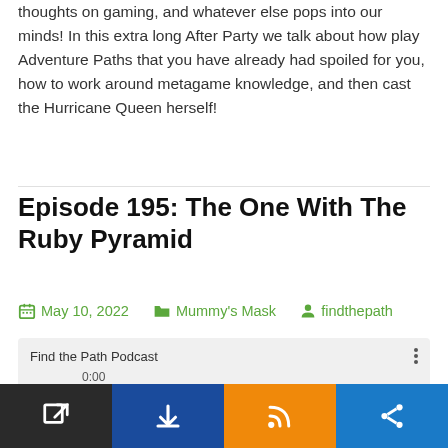thoughts on gaming, and whatever else pops into our minds! In this extra long After Party we talk about how play Adventure Paths that you have already had spoiled for you, how to work around metagame knowledge, and then cast the Hurricane Queen herself!
Episode 195: The One With The Ruby Pyramid
May 10, 2022   Mummy's Mask   findthepath
[Figure (screenshot): Audio player widget showing Find the Path Podcast, 0:00 timestamp, play button, progress bar, volume button, and bottom toolbar with share/download/RSS/share icons]
Open in new tab | Download | RSS | Share